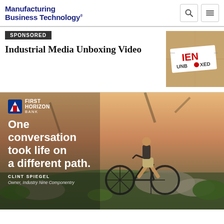Manufacturing Business Technology
SPONSORED
Industrial Media Unboxing Video
[Figure (photo): IEN Unboxed branded box on cardboard background]
[Figure (photo): First Horizon Bank advertisement showing a mountain biker with text: One conversation took life on a different path. Clint Spiegel, Owner, Industry Nine Componentry]